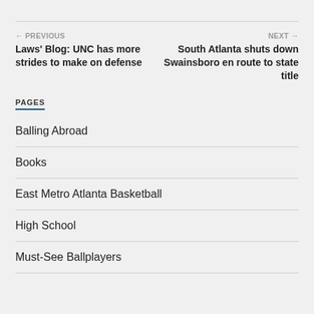← PREVIOUS Laws' Blog: UNC has more strides to make on defense
NEXT → South Atlanta shuts down Swainsboro en route to state title
PAGES
Balling Abroad
Books
East Metro Atlanta Basketball
High School
Must-See Ballplayers